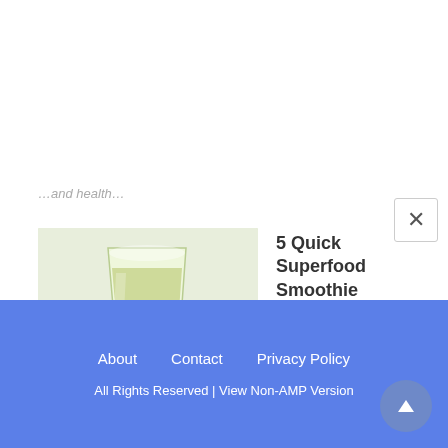…(partial text at top, cut off)…
[Figure (photo): A smoothie in a glass with kiwi slices in front, green smoothie / superfood drink]
5 Quick Superfood Smoothie Recipes To Boost Weight Loss
Superfood smoothie recipes are a great tool for weight loss. They're full of nutrients, can…
About   Contact   Privacy Policy
All Rights Reserved | View Non-AMP Version